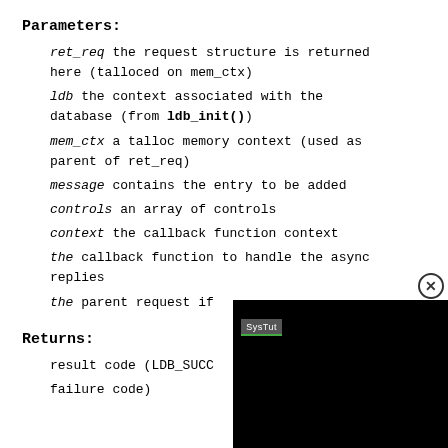Parameters:
ret_req the request structure is returned here (talloced on mem_ctx)
ldb the context associated with the database (from ldb_init())
mem_ctx a talloc memory context (used as parent of ret_req)
message contains the entry to be added
controls an array of controls
context the callback function context
the callback function to handle the async replies
the parent request if
Returns:
result code (LDB_SUCC
failure code)